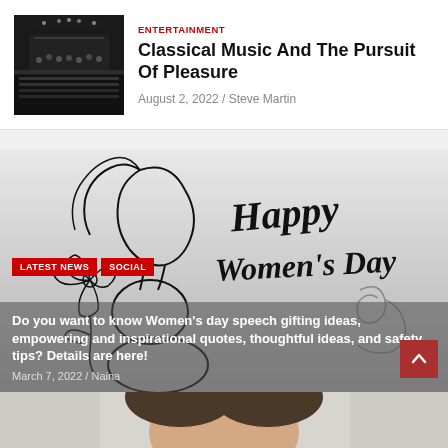ENTERTAINMENT
Classical Music And The Pursuit Of Pleasure
August 2, 2022 / Steve Martin
[Figure (photo): Black and white photo of an orchestra or large audience in a grand concert hall]
[Figure (illustration): Happy Women's Day illustration with a line-art silhouette of a woman's face with floral and spiral elements, with cursive text reading 'Happy Women's Day']
LATEST NEWS
SOCIAL
Do you want to know Women's day speech gifting ideas, empowering and inspirational quotes, thoughtful ideas, and safety tips? Details are here!
March 7, 2022 / Naina
[Figure (photo): Top portion of a man's head with brown hair against a light background, partially visible at bottom of page]